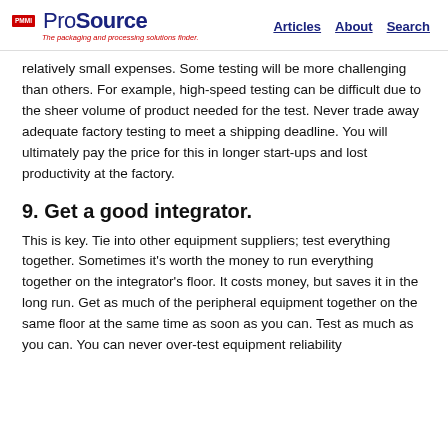ProSource – The packaging and processing solutions finder. Articles | About | Search
relatively small expenses. Some testing will be more challenging than others. For example, high-speed testing can be difficult due to the sheer volume of product needed for the test. Never trade away adequate factory testing to meet a shipping deadline. You will ultimately pay the price for this in longer start-ups and lost productivity at the factory.
9. Get a good integrator.
This is key. Tie into other equipment suppliers; test everything together. Sometimes it's worth the money to run everything together on the integrator's floor. It costs money, but saves it in the long run. Get as much of the peripheral equipment together on the same floor at the same time as soon as you can. Test as much as you can. You can never over-test equipment reliability